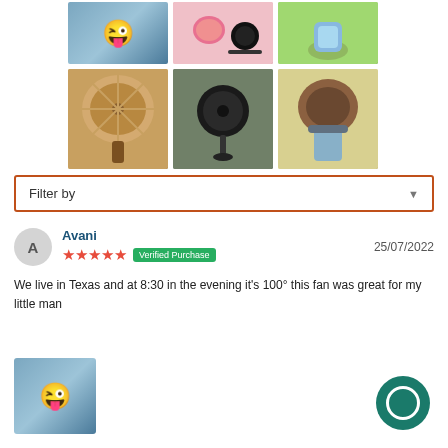[Figure (photo): Grid of 6 product/lifestyle photos showing fans and babies in strollers. Top row: baby with tongue-out emoji in stroller, pink background with black fan, baby sitting outdoors. Bottom row: tan handheld fan, black fan on tripod indoors, baby in stroller from behind outdoors.]
Filter by
Avani
25/07/2022
Verified Purchase
We live in Texas and at 8:30 in the evening it's 100° this fan was great for my little man
[Figure (photo): Review photo showing baby in stroller with tongue-out emoji overlay]